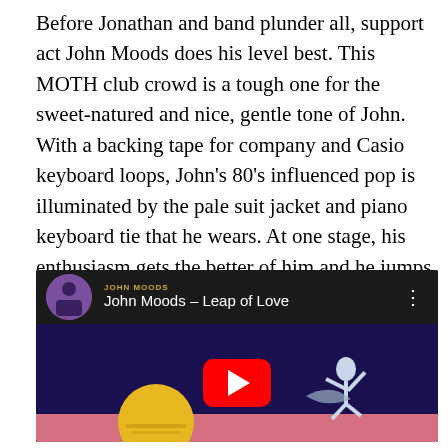Before Jonathan and band plunder all, support act John Moods does his level best. This MOTH club crowd is a tough one for the sweet-natured and nice, gentle tone of John. With a backing tape for company and Casio keyboard loops, John's 80's influenced pop is illuminated by the pale suit jacket and piano keyboard tie that he wears. At one stage, his enthusiasm gets the better of him and he jumps into the crowd to have a bop. Those paying attention appreciate the effort but many rudely ignore whilst waiting for the main number.
[Figure (screenshot): YouTube video embed showing 'John Moods - Leap of Love' with a channel avatar on a dark header bar, and a video thumbnail with a dark blue background, a yellow sun/moon, a white animated figure, and a red YouTube play button in the center.]